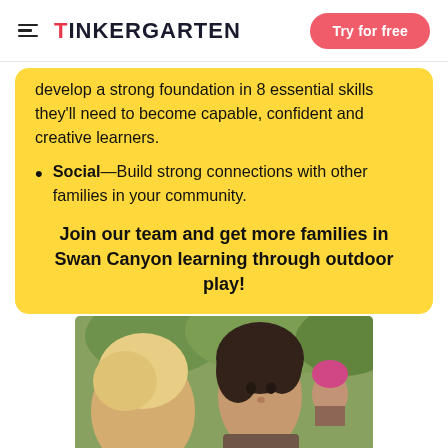TiNKERGARTEN — Try for free
develop a strong foundation in 8 essential skills they'll need to become capable, confident and creative learners.
Social—Build strong connections with other families in your community.
Join our team and get more families in Swan Canyon learning through outdoor play!
[Figure (photo): Photo of an adult woman and a young child outdoors, with green trees and another person in background wearing a pink hat]